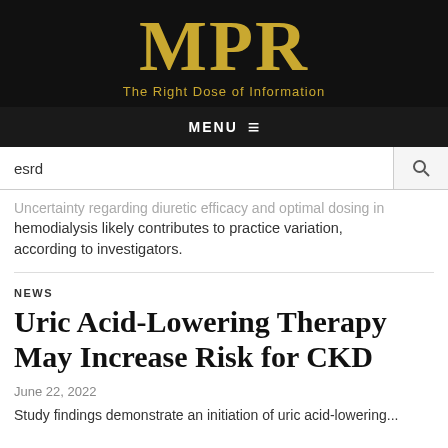[Figure (logo): MPR logo with tagline 'The Right Dose of Information' on black background in gold color]
MENU ≡
esrd
Uncertainty regarding diuretic efficacy and optimal dosing in hemodialysis likely contributes to practice variation, according to investigators.
NEWS
Uric Acid-Lowering Therapy May Increase Risk for CKD
June 22, 2022
Study findings demonstrate an initiation of uric acid-lowering...